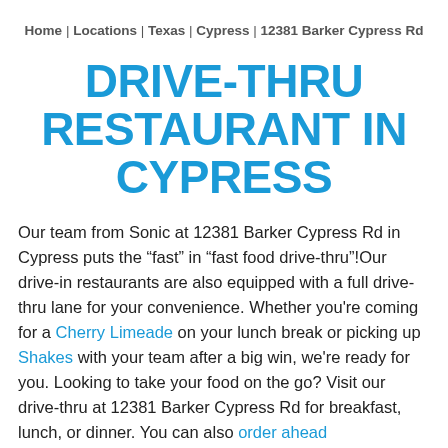Home | Locations | Texas | Cypress | 12381 Barker Cypress Rd
DRIVE-THRU RESTAURANT IN CYPRESS
Our team from Sonic at 12381 Barker Cypress Rd in Cypress puts the “fast” in “fast food drive-thru”!Our drive-in restaurants are also equipped with a full drive-thru lane for your convenience. Whether you're coming for a Cherry Limeade on your lunch break or picking up Shakes with your team after a big win, we're ready for you. Looking to take your food on the go? Visit our drive-thru at 12381 Barker Cypress Rd for breakfast, lunch, or dinner. You can also order ahead